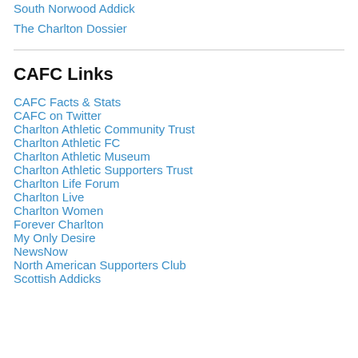South Norwood Addick
The Charlton Dossier
CAFC Links
CAFC Facts & Stats
CAFC on Twitter
Charlton Athletic Community Trust
Charlton Athletic FC
Charlton Athletic Museum
Charlton Athletic Supporters Trust
Charlton Life Forum
Charlton Live
Charlton Women
Forever Charlton
My Only Desire
NewsNow
North American Supporters Club
Scottish Addicks